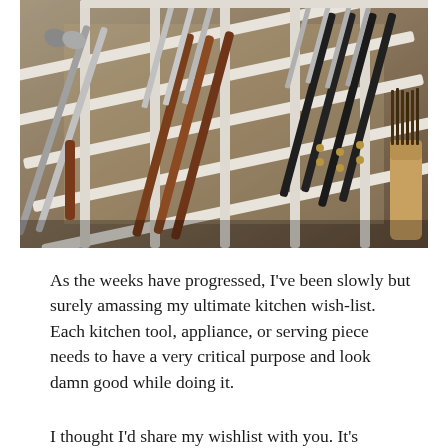[Figure (photo): A knife drawer organizer with white wooden dividers holding various kitchen knives and utensils, including knives with dark and wooden handles, and a pair of tongs, viewed at an angle from above.]
As the weeks have progressed, I've been slowly but surely amassing my ultimate kitchen wish-list. Each kitchen tool, appliance, or serving piece needs to have a very critical purpose and look damn good while doing it.
I thought I'd share my wishlist with you. It's